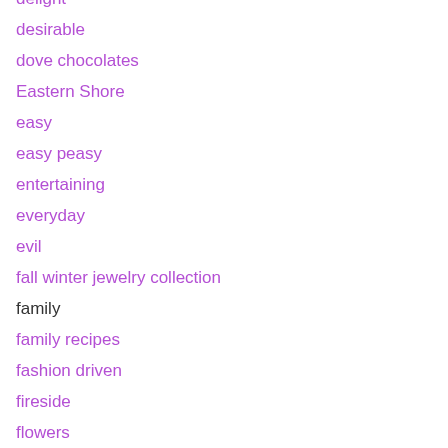delight
desirable
dove chocolates
Eastern Shore
easy
easy peasy
entertaining
everyday
evil
fall winter jewelry collection
family
family recipes
fashion driven
fireside
flowers